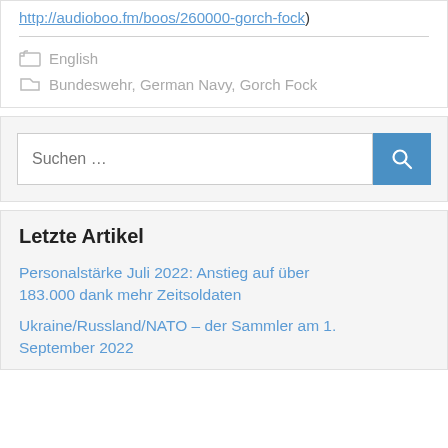http://audioboo.fm/boos/260000-gorch-fock)
English
Bundeswehr, German Navy, Gorch Fock
Suchen …
Letzte Artikel
Personalstärke Juli 2022: Anstieg auf über 183.000 dank mehr Zeitsoldaten
Ukraine/Russland/NATO – der Sammler am 1. September 2022